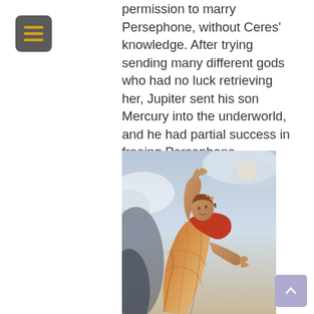[Figure (other): Menu/hamburger button icon with three horizontal yellow/gold lines on a dark grey rounded square background]
permission to marry Persephone, without Ceres' knowledge. After trying sending many different gods who had no luck retrieving her, Jupiter sent his son Mercury into the underworld, and he had partial success in freeing Persephone.
[Figure (illustration): Classical painting of a woman in flowing orange/golden robes, reaching upward with one arm, set against a blue-grey cloudy sky background. Depicts Persephone being freed from the underworld.]
[Figure (other): Scroll-to-top button: light purple/lavender rounded square with an upward-pointing chevron arrow]